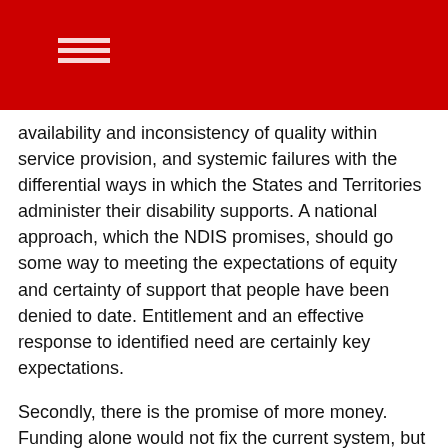availability and inconsistency of quality within service provision, and systemic failures with the differential ways in which the States and Territories administer their disability supports. A national approach, which the NDIS promises, should go some way to meeting the expectations of equity and certainty of support that people have been denied to date. Entitlement and an effective response to identified need are certainly key expectations.
Secondly, there is the promise of more money. Funding alone would not fix the current system, but there is agreement that the sector as a whole is significantly under-resourced – and that this has contributed greatly to the rationing of support which has left many people with disability isolated and unsupported.
Services will not be an end in themselves, but rather the means by which people with disability get to participate on an